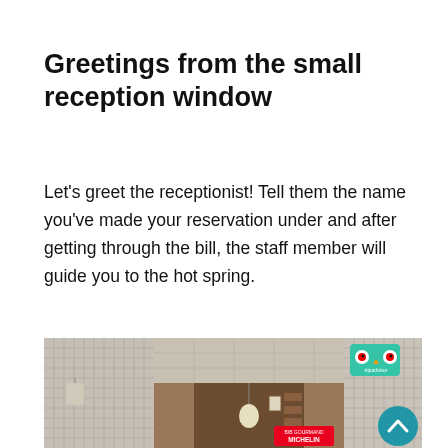Greetings from the small reception window
Let's greet the receptionist! Tell them the name you've made your reservation under and after getting through the bill, the staff member will guide you to the hot spring.
[Figure (photo): Photo of a Japanese inn reception area showing a mesh curtain on the left, a hallway interior with a hanging light bulb and wooden cabinets in the middle, and mesh curtain with TripAdvisor and Michelin badges on the right. A teal scroll-up button is visible in the bottom right corner.]